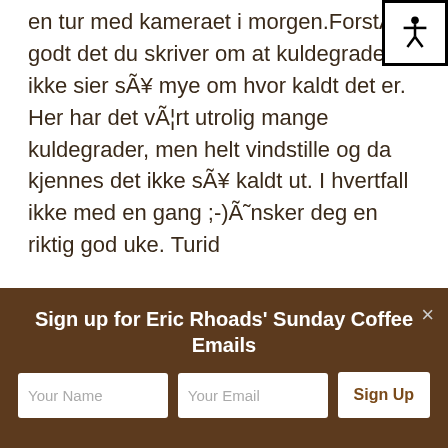en tur med kameraet i morgen.ForstÃ¥r godt det du skriver om at kuldegradene ikke sier sÃ¥ mye om hvor kaldt det er. Her har det vÃ¦rt utrolig mange kuldegrader, men helt vindstille og da kjennes det ikke sÃ¥ kaldt ut. I hvertfall ikke med en gang ;-)Ã˜nsker deg en riktig god uke. Turid
best car insurance in Alpharetta GA   September 10, 2018 at 3:43 am - Reply
Il y a aussi pas mal de Smiths chez The
Sign up for Eric Rhoads' Sunday Coffee Emails
Your Name
Your Email
Sign Up